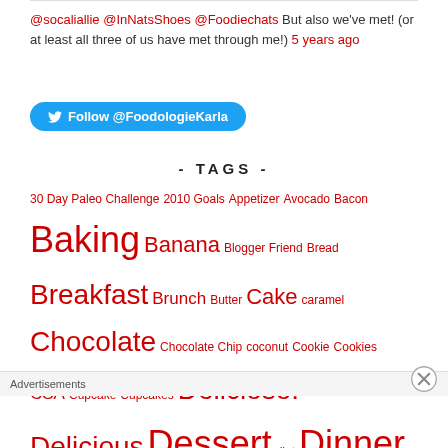@socaliallie @InNatsShoes @Foodiechats But also we've met! (or at least all three of us have met through me!) 5 years ago
Follow @FoodologieKarla
- TAGS -
30 Day Paleo Challenge 2010 Goals Appetizer Avocado Bacon Baking Banana Blogger Friend Bread Breakfast Brunch Butter Cake caramel Chocolate Chocolate Chip coconut Cookie Cookies CSA Cupcake Cupcakes Delicioso! Delicious Dessert diet Dinner Exercise Flour food Food for Thought Food
Advertisements